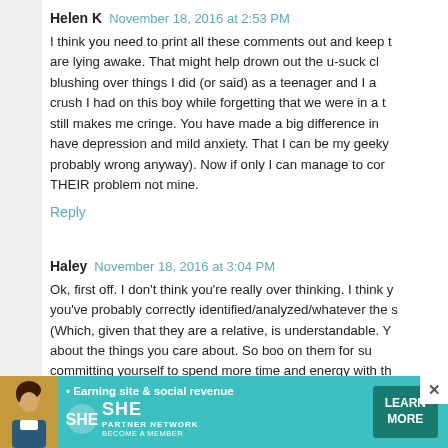Helen K  November 18, 2016 at 2:53 PM
I think you need to print all these comments out and keep here are lying awake. That might help drown out the u-suck ch blushing over things I did (or said) as a teenager and I ar crush I had on this boy while forgetting that we were in a t still makes me cringe. You have made a big difference in m have depression and mild anxiety. That I can be my geeky probably wrong anyway). Now if only I can manage to cor THEIR problem not mine.
Reply
Haley  November 18, 2016 at 3:04 PM
Ok, first off. I don't think you're really over thinking. I think y you've probably correctly identified/analyzed/whatever the s (Which, given that they are a relative, is understandable. Y about the things you care about. So boo on them for su committing yourself to spend more time and energy with th to be able to say my life is full of those types of people, bu themselves! So thank you for that! Secondly, I think what you do is awesome and have spen open my own cake business eventually, and I have to say, for figuring this out so early in life. Too many people spen their dreams. Thirdly, even if you and John WERE independently w
[Figure (infographic): SHE Partner Network advertisement banner with woman photo, tagline 'Earning site & social revenue', SHE logo, PARTNER NETWORK, BECOME A MEMBER text, and LEARN MORE button]